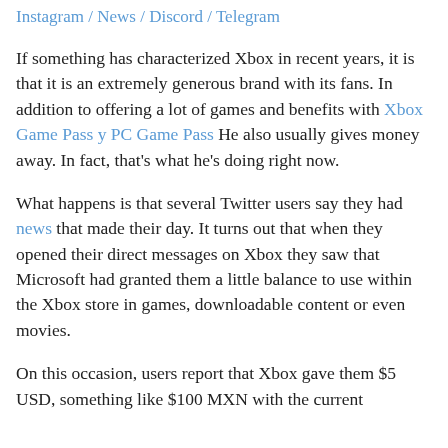Instagram / News / Discord / Telegram
If something has characterized Xbox in recent years, it is that it is an extremely generous brand with its fans. In addition to offering a lot of games and benefits with Xbox Game Pass y PC Game Pass He also usually gives money away. In fact, that's what he's doing right now.
What happens is that several Twitter users say they had news that made their day. It turns out that when they opened their direct messages on Xbox they saw that Microsoft had granted them a little balance to use within the Xbox store in games, downloadable content or even movies.
On this occasion, users report that Xbox gave them $5 USD, something like $100 MXN with the current